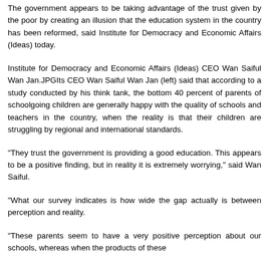The government appears to be taking advantage of the trust given by the poor by creating an illusion that the education system in the country has been reformed, said Institute for Democracy and Economic Affairs (Ideas) today.
Institute for Democracy and Economic Affairs (Ideas) CEO Wan Saiful Wan Jan.JPGIts CEO Wan Saiful Wan Jan (left) said that according to a study conducted by his think tank, the bottom 40 percent of parents of schoolgoing children are generally happy with the quality of schools and teachers in the country, when the reality is that their children are struggling by regional and international standards.
"They trust the government is providing a good education. This appears to be a positive finding, but in reality it is extremely worrying," said Wan Saiful.
"What our survey indicates is how wide the gap actually is between perception and reality.
"These parents seem to have a very positive perception about our schools, whereas when the products of these